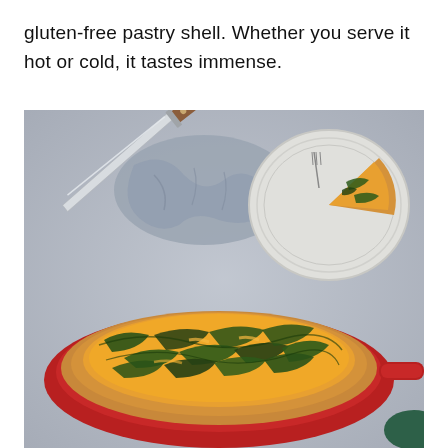gluten-free pastry shell. Whether you serve it hot or cold, it tastes immense.
[Figure (photo): Food photograph showing a spinach and egg quiche with a golden-brown crust in a red baking dish in the foreground, with a slice of the quiche on a white plate in the upper right, a kitchen knife and a grey cloth napkin in the upper left, all on a grey stone surface.]